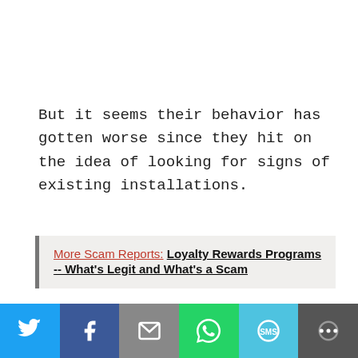But it seems their behavior has gotten worse since they hit on the idea of looking for signs of existing installations.
More Scam Reports: Loyalty Rewards Programs -- What's Legit and What's a Scam
[Figure (other): Advertisement banner for Royal Uno with text 'FLY ME TO PARADISE WITH ALL-INCLUSIVE' and teal decorative image]
[Figure (other): Social share bar with Twitter, Facebook, Email, WhatsApp, SMS, and More buttons]